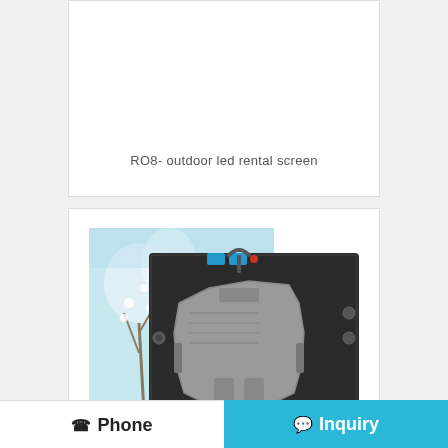RO8- outdoor led rental screen
[Figure (photo): LED rental screen module showing front display panel with floral/sky image and rear black hardware module with blue connectors and gray center component]
RO5-outdoor led rental screen
Phone  Inquiry